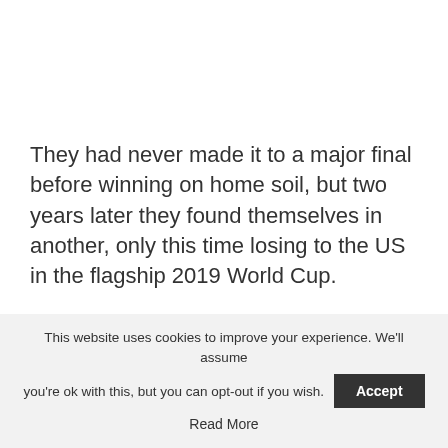They had never made it to a major final before winning on home soil, but two years later they found themselves in another, only this time losing to the US in the flagship 2019 World Cup.
Since then, however, the Netherlands has lost Wiegman to England, with Englishman Mark Parsons taking over. They now remain in a battle
This website uses cookies to improve your experience. We'll assume you're ok with this, but you can opt-out if you wish. Accept
Read More